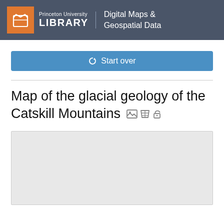Princeton University LIBRARY | Digital Maps & Geospatial Data
Start over
Map of the glacial geology of the Catskill Mountains
[Figure (map): Gray placeholder map preview area for Map of the glacial geology of the Catskill Mountains]